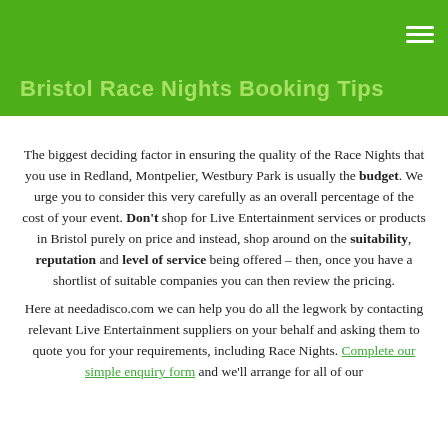Bristol Race Nights Booking Tips
The biggest deciding factor in ensuring the quality of the Race Nights that you use in Redland, Montpelier, Westbury Park is usually the budget. We urge you to consider this very carefully as an overall percentage of the cost of your event. Don't shop for Live Entertainment services or products in Bristol purely on price and instead, shop around on the suitability, reputation and level of service being offered – then, once you have a shortlist of suitable companies you can then review the pricing.
Here at needadisco.com we can help you do all the legwork by contacting relevant Live Entertainment suppliers on your behalf and asking them to quote you for your requirements, including Race Nights. Complete our simple enquiry form and we'll arrange for all of our